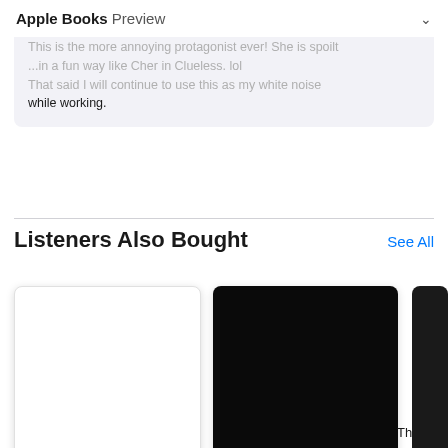Apple Books Preview
This is the more annoying protagonist ever! She is spoilt ...in a fun way like Cher in Clueless. lol That said I will continue to use this as my white noise while working.
Listeners Also Bought
[Figure (illustration): Three book cover thumbnails in a horizontal scroll row. First is white/blank cover (The Witching Place: A Perilous Page), second is solid black cover (The Witching Place: A Vanished Volume (A Curious), third is partially visible dark cover.]